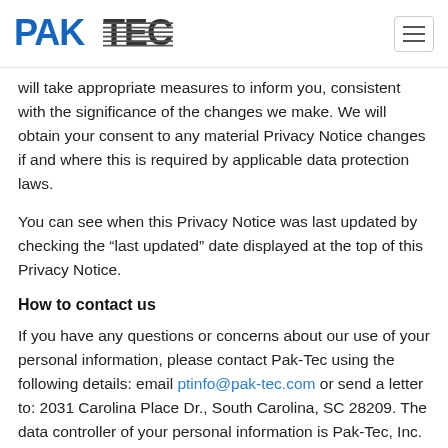PAKTEC logo and navigation
will take appropriate measures to inform you, consistent with the significance of the changes we make. We will obtain your consent to any material Privacy Notice changes if and where this is required by applicable data protection laws.
You can see when this Privacy Notice was last updated by checking the “last updated” date displayed at the top of this Privacy Notice.
How to contact us
If you have any questions or concerns about our use of your personal information, please contact Pak-Tec using the following details: email ptinfo@pak-tec.com or send a letter to: 2031 Carolina Place Dr., South Carolina, SC 28209. The data controller of your personal information is Pak-Tec, Inc.